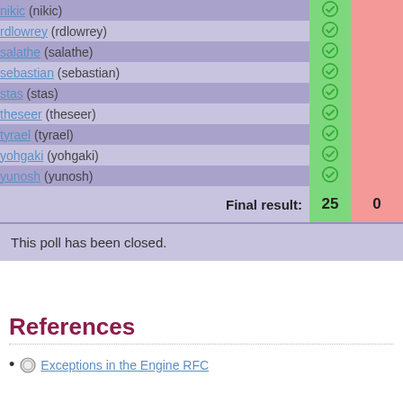| Name | Yes | No |
| --- | --- | --- |
| nikic (nikic) | ✓ |  |
| rdlowrey (rdlowrey) | ✓ |  |
| salathe (salathe) | ✓ |  |
| sebastian (sebastian) | ✓ |  |
| stas (stas) | ✓ |  |
| theseer (theseer) | ✓ |  |
| tyrael (tyrael) | ✓ |  |
| yohgaki (yohgaki) | ✓ |  |
| yunosh (yunosh) | ✓ |  |
| Final result: | 25 | 0 |
This poll has been closed.
References
Exceptions in the Engine RFC